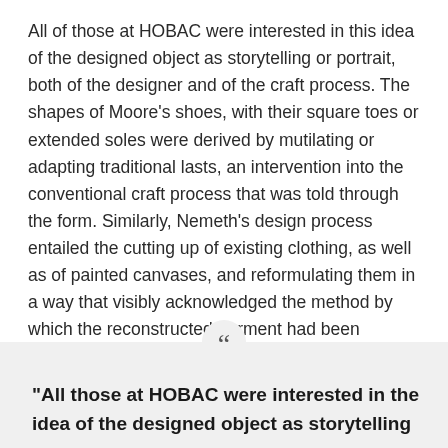All of those at HOBAC were interested in this idea of the designed object as storytelling or portrait, both of the designer and of the craft process. The shapes of Moore's shoes, with their square toes or extended soles were derived by mutilating or adapting traditional lasts, an intervention into the conventional craft process that was told through the form. Similarly, Nemeth's design process entailed the cutting up of existing clothing, as well as of painted canvases, and reformulating them in a way that visibly acknowledged the method by which the reconstructed garment had been produced.
"All those at HOBAC were interested in the idea of the designed object as storytelling